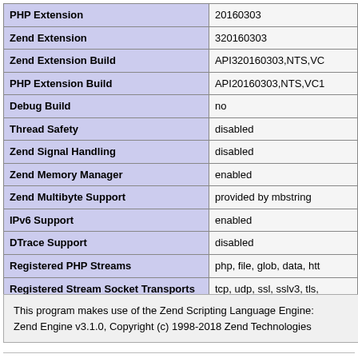|  |  |
| --- | --- |
| PHP Extension | 20160303 |
| Zend Extension | 320160303 |
| Zend Extension Build | API320160303,NTS,VC |
| PHP Extension Build | API20160303,NTS,VC1 |
| Debug Build | no |
| Thread Safety | disabled |
| Zend Signal Handling | disabled |
| Zend Memory Manager | enabled |
| Zend Multibyte Support | provided by mbstring |
| IPv6 Support | enabled |
| DTrace Support | disabled |
| Registered PHP Streams | php, file, glob, data, htt |
| Registered Stream Socket Transports | tcp, udp, ssl, sslv3, tls, |
| Registered Stream Filters | convert.iconv.*, mcrypt.
consumed, dechunk, zl |
This program makes use of the Zend Scripting Language Engine:
Zend Engine v3.1.0, Copyright (c) 1998-2018 Zend Technologies